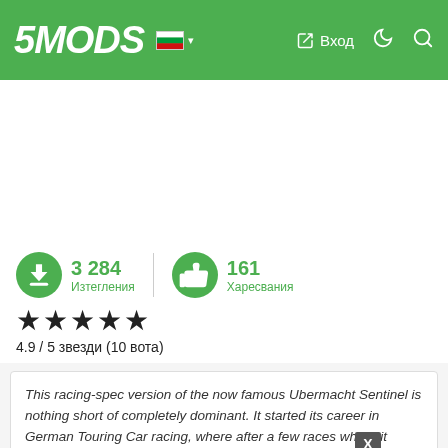5MODS — Вход
3 284 Изтегления | 161 Харесвания
4.9 / 5 звезди (10 вота)
This racing-spec version of the now famous Ubermacht Sentinel is nothing short of completely dominant. It started its career in German Touring Car racing, where after a few races where it made a complete and utter mockey of its Benefactor and Obey opponents, it was promptly banned for simply being too good. This is how it continued. BTCC? Banned. Australian Touring cars? Banned. Ubermacht poured every bit of German